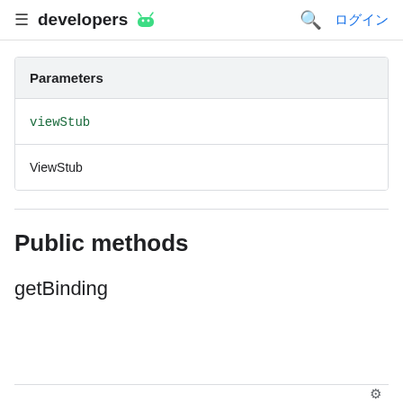≡ developers 🤖  🔍 ログイン
| Parameters |
| --- |
| viewStub |
| ViewStub |
Public methods
getBinding